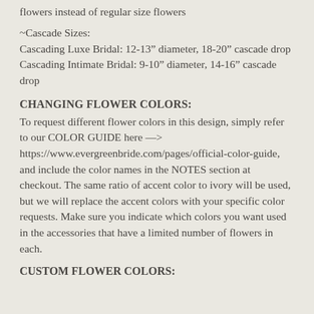flowers instead of regular size flowers
~Cascade Sizes:
Cascading Luxe Bridal: 12-13” diameter, 18-20” cascade drop
Cascading Intimate Bridal: 9-10” diameter, 14-16” cascade drop
CHANGING FLOWER COLORS:
To request different flower colors in this design, simply refer to our COLOR GUIDE here —> https://www.evergreenbride.com/pages/official-color-guide, and include the color names in the NOTES section at checkout. The same ratio of accent color to ivory will be used, but we will replace the accent colors with your specific color requests. Make sure you indicate which colors you want used in the accessories that have a limited number of flowers in each.
CUSTOM FLOWER COLORS: